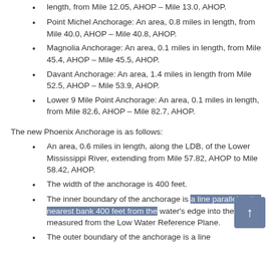length, from Mile 12.05, AHOP – Mile 13.0, AHOP.
Point Michel Anchorage: An area, 0.8 miles in length, from Mile 40.0, AHOP – Mile 40.8, AHOP.
Magnolia Anchorage: An area, 0.1 miles in length, from Mile 45.4, AHOP – Mile 45.5, AHOP.
Davant Anchorage: An area, 1.4 miles in length from Mile 52.5, AHOP – Mile 53.9, AHOP.
Lower 9 Mile Point Anchorage: An area, 0.1 miles in length, from Mile 82.6, AHOP – Mile 82.7, AHOP.
The new Phoenix Anchorage is as follows:
An area, 0.6 miles in length, along the LDB, of the Lower Mississippi River, extending from Mile 57.82, AHOP to Mile 58.42, AHOP.
The width of the anchorage is 400 feet.
The inner boundary of the anchorage is a line parallel to the nearest bank 400 feet from the water's edge into the river as measured from the Low Water Reference Plane.
The outer boundary of the anchorage is a line...